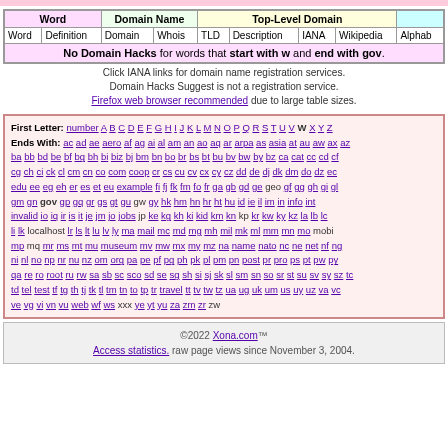| Word |  | Domain Name |  | Top-Level Domain |  |  |  | Alphab |
| --- | --- | --- | --- | --- | --- | --- | --- | --- |
| Word | Definition | Domain | Whois | TLD | Description | IANA | Wikipedia | Alphab |
| No Domain Hacks for words that start with w and end with gov. |
Click IANA links for domain name registration services.
Domain Hacks Suggest is not a registration service.
Firefox web browser recommended due to large table sizes.
First Letter: number A B C D E F G H I J K L M N O P Q R S T U V W X Y Z
Ends With: ac ad ae aero af ag ai al am an ao aq ar arpa as asia at au aw ax az ba bb bd be bf bg bh bi biz bj bm bn bo br bs bt bu bv bw by bz ca cat cc cd cf cg ch ci ck cl cm cn co com coop cr cs cu cv cx cy cz dd de dj dk dm do dz ec edu ee eg eh er es et eu example fi fj fk fm fo fr ga gb gd ge geo gf gg gh gi gl gm gn gov gp gq gr gs gt gu gw gy hk hm hn hr ht hu id ie il im in info int invalid io iq ir is it je jm jo jobs jp ke kg kh ki kid km kn kp kr kw ky kz la lb lc li lk localhost lr ls lt lu lv ly ma mail mc md mg mh mil mk ml mm mn mo mobi mp mq mr ms mt mu museum mv mw mx my mz na name nato nc ne net nf ng ni nl no np nr nu nz om org pa pe pf pg ph pk pl pm pn post pr pro ps pt pw py qa re ro root ru rw sa sb sc sco sd se sg sh si sj sk sl sm sn so sr st su sv sy sz tc td tel test tf tg th tj tk tl tm tn to tp tr travel tt tv tw tz ua ug uk um us uy uz va vc ve vg vi vn vu web wf ws xxx ye yt yu za zm zr zw
©2022 Xona.com™
Access statistics. raw page views since November 3, 2004.